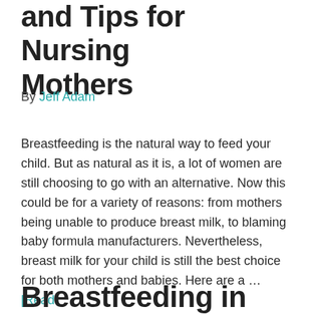and Tips for Nursing Mothers
By Jeff Adam
Breastfeeding is the natural way to feed your child. But as natural as it is, a lot of women are still choosing to go with an alternative. Now this could be for a variety of reasons: from mothers being unable to produce breast milk, to blaming baby formula manufacturers. Nevertheless, breast milk for your child is still the best choice for both mothers and babies. Here are a … [Read more...]
Breastfeeding in Public